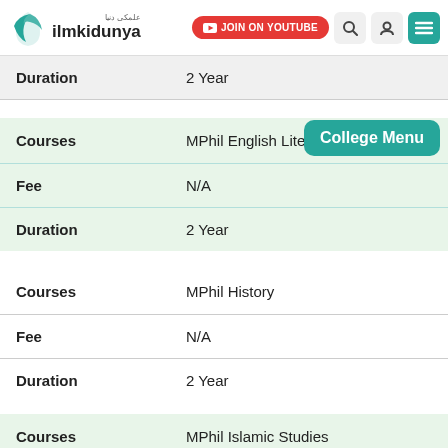ilmkidunya — JOIN ON YOUTUBE
| Field | Value |
| --- | --- |
| Duration | 2 Year |
| Courses | MPhil English Literature |
| Fee | N/A |
| Duration | 2 Year |
| Courses | MPhil History |
| Fee | N/A |
| Duration | 2 Year |
| Courses | MPhil Islamic Studies |
| Fee | N/A |
College Menu